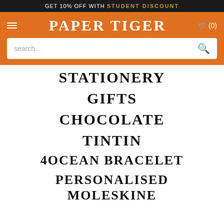GET 10% OFF WITH STUDENT DISCOUNT
PAPER TIGER
STATIONERY
GIFTS
CHOCOLATE
TINTIN
4OCEAN BRACELET
PERSONALISED MOLESKINE